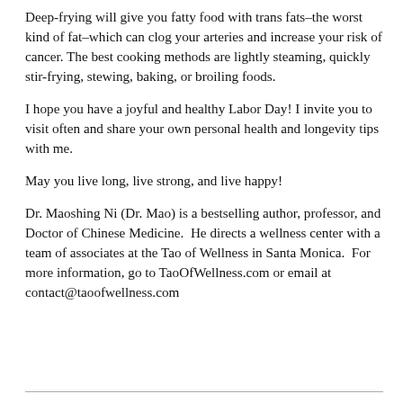Deep-frying will give you fatty food with trans fats–the worst kind of fat–which can clog your arteries and increase your risk of cancer. The best cooking methods are lightly steaming, quickly stir-frying, stewing, baking, or broiling foods.
I hope you have a joyful and healthy Labor Day! I invite you to visit often and share your own personal health and longevity tips with me.
May you live long, live strong, and live happy!
Dr. Maoshing Ni (Dr. Mao) is a bestselling author, professor, and Doctor of Chinese Medicine.  He directs a wellness center with a team of associates at the Tao of Wellness in Santa Monica.  For more information, go to TaoOfWellness.com or email at contact@taoofwellness.com